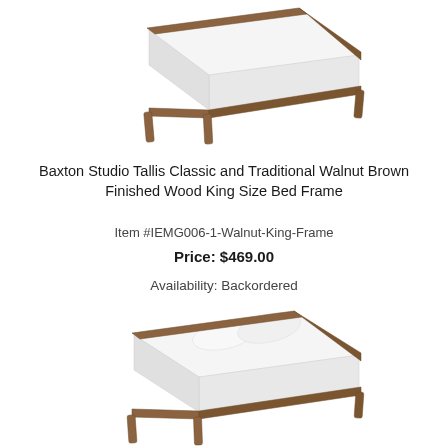[Figure (photo): Photo of a walnut brown wood king size bed frame with white mattress, viewed from an angle above, no pillows, top view showing the frame structure.]
Baxton Studio Tallis Classic and Traditional Walnut Brown Finished Wood King Size Bed Frame
Item #IEMG006-1-Walnut-King-Frame
Price: $469.00
Availability: Backordered
[Figure (photo): Photo of a walnut brown wood king size bed frame with white mattress and two white pillows, viewed from an angle showing the front and side of the frame.]